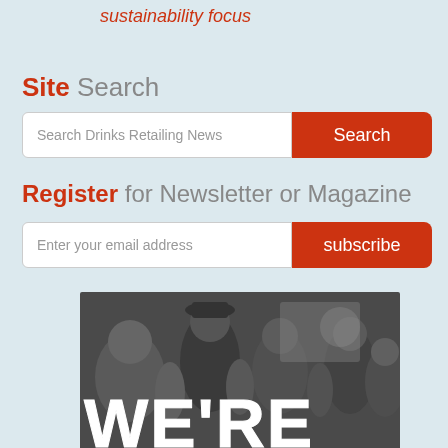sustainability focus
Site Search
Search Drinks Retailing News
Register for Newsletter or Magazine
Enter your email address
[Figure (photo): Black and white photo of a crowd of people at an event or trade show, with large bold white text 'WE'RE' overlaid at the bottom]
WE'RE